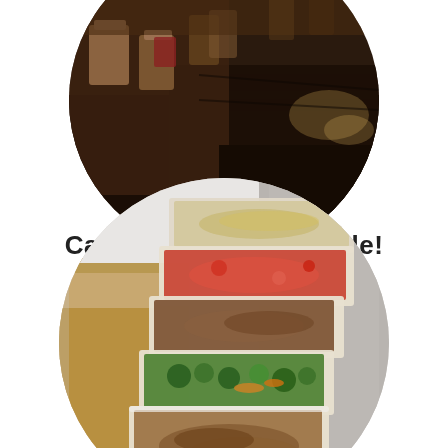[Figure (photo): Circular cropped photo of a restaurant interior with wooden tables, chairs, and warm ambient lighting]
Call now to book a table!
(778)-519-5198
[Figure (photo): Circular cropped photo of multiple food catering trays filled with various Asian dishes including vegetables, meat, and noodles lined up on a buffet counter]